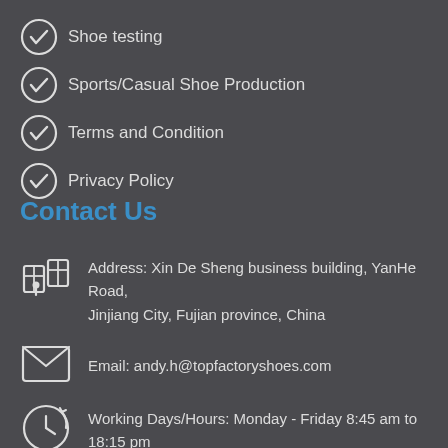Shoe testing
Sports/Casual Shoe Production
Terms and Condition
Privacy Policy
Contact Us
Address: Xin De Sheng business building, YanHe Road, Jinjiang City, Fujian province, China
Email: andy.h@topfactoryshoes.com
Working Days/Hours: Monday - Friday 8:45 am to 18:15 pm